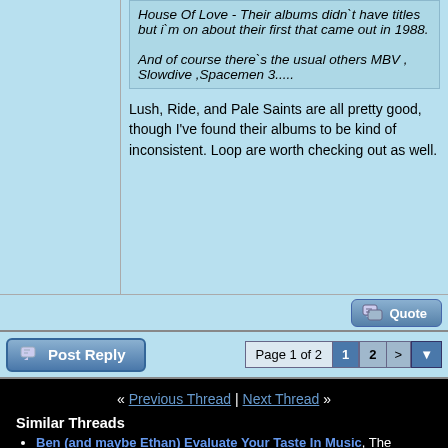House Of Love - Their albums didn't have titles but i'm on about their first that came out in 1988.

And of course there`s the usual others MBV , Slowdive ,Spacemen 3.....
Lush, Ride, and Pale Saints are all pretty good, though I've found their albums to be kind of inconsistent. Loop are worth checking out as well.
Page 1 of 2  1  2  >
« Previous Thread | Next Thread »
Similar Threads
Ben (and maybe Ethan) Evaluate Your Taste In Music, The Lounge Forum, 95 replies